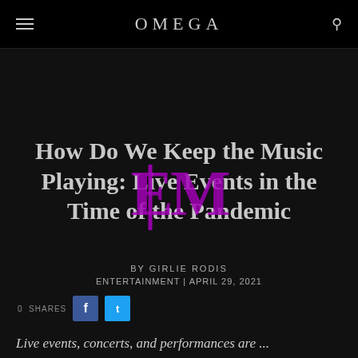OMEGA
[Figure (logo): LEM watermark/logo in purple overlaid on center of page]
How Do We Keep the Music Playing: Live Events in the Time of the Pandemic
BY GIRLIE RODIS
ENTERTAINMENT | April 29, 2021
0 SHARES
Live events, concerts, and performances are ...